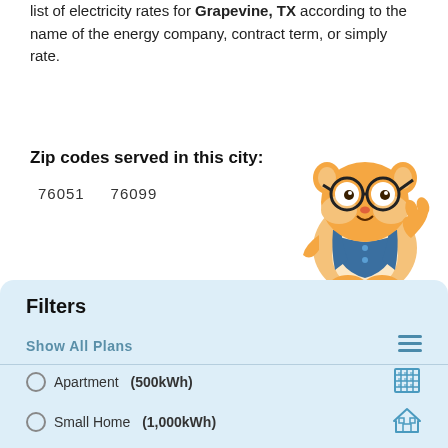list of electricity rates for Grapevine, TX according to the name of the energy company, contract term, or simply rate.
Zip codes served in this city:
76051   76099
[Figure (illustration): Cartoon hamster mascot wearing glasses and a blue vest, giving a thumbs up]
Filters
Show All Plans
Apartment (500kWh)
Small Home (1,000kWh)